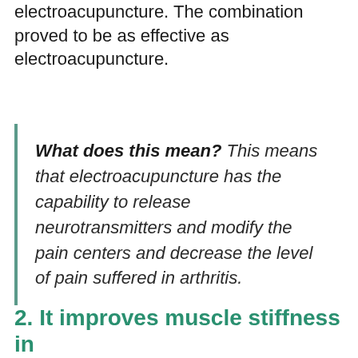electroacupuncture. The combination proved to be as effective as electroacupuncture.
What does this mean? This means that electroacupuncture has the capability to release neurotransmitters and modify the pain centers and decrease the level of pain suffered in arthritis.
2. It improves muscle stiffness in